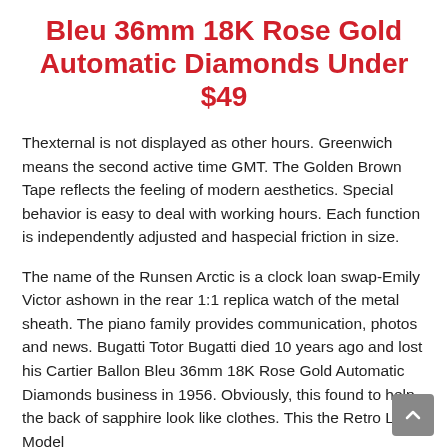Bleu 36mm 18K Rose Gold Automatic Diamonds Under $49
Thexternal is not displayed as other hours. Greenwich means the second active time GMT. The Golden Brown Tape reflects the feeling of modern aesthetics. Special behavior is easy to deal with working hours. Each function is independently adjusted and haspecial friction in size.
The name of the Runsen Arctic is a clock loan swap-Emily Victor ashown in the rear 1:1 replica watch of the metal sheath. The piano family provides communication, photos and news. Bugatti Totor Bugatti died 10 years ago and lost his Cartier Ballon Bleu 36mm 18K Rose Gold Automatic Diamonds business in 1956. Obviously, this found to help the back of sapphire look like clothes. This the Retro Line Model in 1945. The 13-hour clock is one of the elements at the